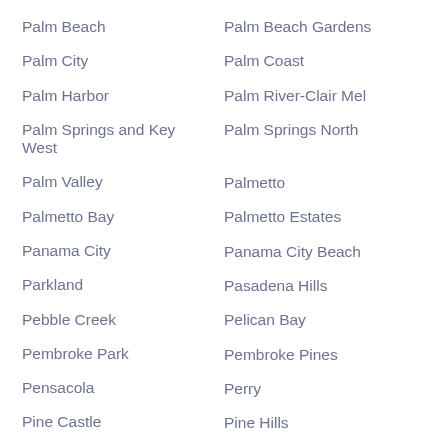Palm Beach
Palm Beach Gardens
Palm City
Palm Coast
Palm Harbor
Palm River-Clair Mel
Palm Springs and Key West
Palm Springs North
Palm Valley
Palmetto
Palmetto Bay
Palmetto Estates
Panama City
Panama City Beach
Parkland
Pasadena Hills
Pebble Creek
Pelican Bay
Pembroke Park
Pembroke Pines
Pensacola
Perry
Pine Castle
Pine Hills
Pine Ridge
Pinecrest